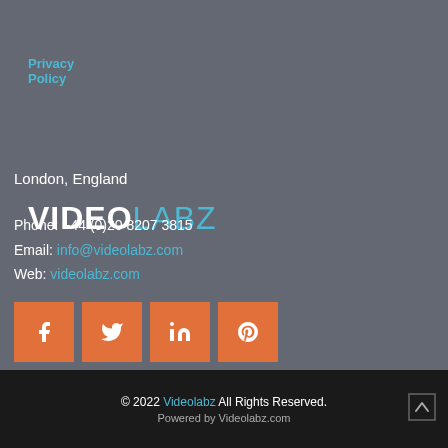Privacy Policy
VIDEOLABZ
London, England
Phone: +44 (0)20 8207 3815
Email: info@videolabz.com
Web: videolabz.com
[Figure (other): Social media icons: Facebook, Twitter, LinkedIn, Pinterest — orange square buttons]
© 2022 Videolabz All Rights Reserved.
Powered by Videolabz.com